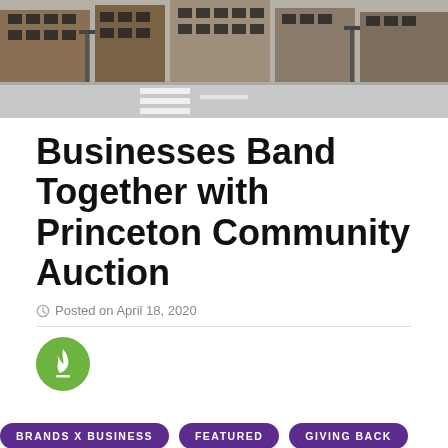[Figure (photo): Street-level photo of a downtown area with brick buildings, dark-windowed storefronts, street lamps, and a wide empty road with white crosswalk lines.]
Businesses Band Together with Princeton Community Auction
Posted on April 18, 2020
[Figure (logo): Green circular avatar icon with a white flame/torch symbol and a small white horizontal base line.]
BRANDS X BUSINESS
FEATURED
GIVING BACK
With the pandemic hurting small businesses, New Jersey towns are working together to find solutions. Hamilton